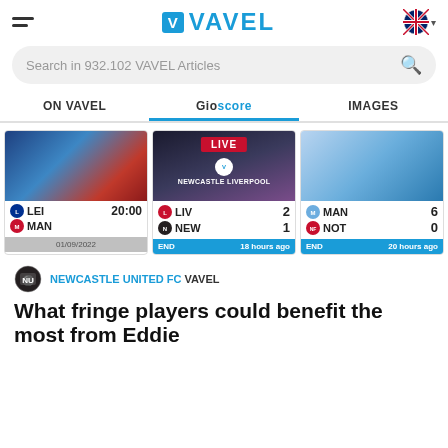VAVEL
Search in 932.102 VAVEL Articles
ON VAVEL | Gioscore | IMAGES
[Figure (screenshot): Match card: LEI vs MAN, 20:00, 01/09/2022]
[Figure (screenshot): Match card LIVE: LIV 2 - NEW 1, NEWCASTLE LIVERPOOL, END 18 hours ago]
[Figure (screenshot): Match card: MAN 6 - NOT 0, END 20 hours ago]
NEWCASTLE UNITED FC VAVEL
What fringe players could benefit the most from Eddie